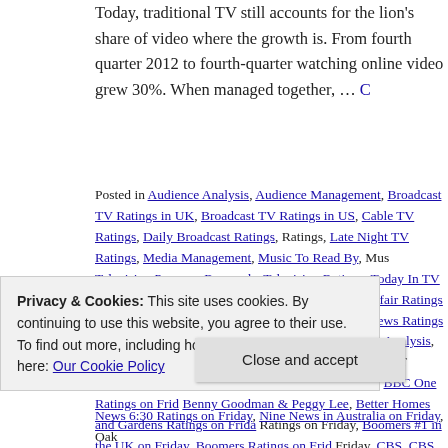Today, traditional TV still accounts for the lion's share of video... where the growth is. From fourth quarter 2012 to fourth-quarter watching online video grew 30%. When managed together, … C
Posted in Audience Analysis, Audience Management, Broadcast TV Ratings in UK, Broadcast TV Ratings in US, Cable TV Ratings, Daily Broadcast Ratings, Ratings, Late Night TV Ratings, Media Management, Music To Read By, Mus Television Program Renewals, Television Ratings, Today In TV History, Unca 20/20 Ratings on Friday, A Current Affair Ratings on Friday, A Question of Sp Friday, ABC1, ABC1 News Ratings on Friday, ABC1 Ratings on Friday, Ameri Audience Analysis, Audience Behavior, Audience Measurement, Australian T Friday, BBC One, BBC One #1 in the UK on Friday, BBC One Ratings on Frid Benny Goodman & Peggy Lee, Better Homes and Gardens Ratings on Frida Ratings on Friday, Boomers #1 in the UK on Friday, Boomers Ratings on Frid Friday, CBS, CBS #1 On Friday, CBS Ratings on Friday, Celebrity Big Brothe Ratings on Friday, Channel 5, Channel 5 Ratings on Friday, Data, Dateline R Ratings on Friday in the UK, Family Feud Ratings in Australia on Friday, FOX Antonio Carlos Jobim, Friday Night NRL Live Ratings on Friday, Gardeners' W
Privacy & Cookies: This site uses cookies. By continuing to use this website, you agree to their use. To find out more, including how to control cookies, see here: Our Cookie Policy
Close and accept
News 6:30 Ratings on Friday, Nine News in Australia on Friday, Oak